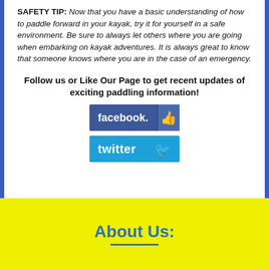SAFETY TIP: Now that you have a basic understanding of how to paddle forward in your kayak, try it for yourself in a safe environment. Be sure to always let others where you are going when embarking on kayak adventures. It is always great to know that someone knows where you are in the case of an emergency.
Follow us or Like Our Page to get recent updates of exciting paddling information!
[Figure (logo): Facebook logo button - blue rectangle with facebook text and thumbs up icon]
[Figure (logo): Twitter logo button - cyan rectangle with twitter text and bird icon]
About Us: